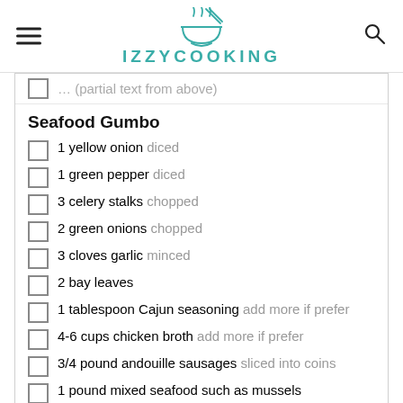IZZYCOOKING
Seafood Gumbo
1 yellow onion diced
1 green pepper diced
3 celery stalks chopped
2 green onions chopped
3 cloves garlic minced
2 bay leaves
1 tablespoon Cajun seasoning add more if prefer
4-6 cups chicken broth add more if prefer
3/4 pound andouille sausages sliced into coins
1 pound mixed seafood such as mussels